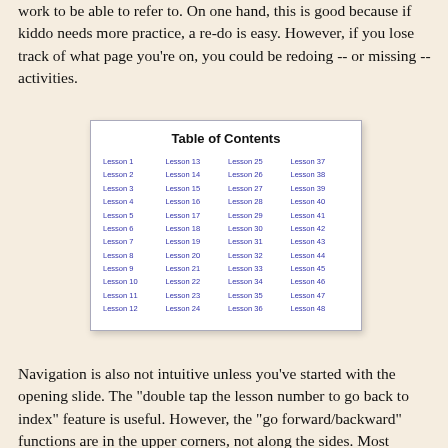work to be able to refer to. On one hand, this is good because if kiddo needs more practice, a re-do is easy. However, if you lose track of what page you're on, you could be redoing -- or missing -- activities.
[Figure (other): Table of Contents showing Lesson 1 through Lesson 48 arranged in 4 columns of 12 rows each, displayed as a white bordered box with shadow.]
Navigation is also not intuitive unless you've started with the opening slide. The "double tap the lesson number to go back to index" feature is useful. However, the "go forward/backward" functions are in the upper corners, not along the sides. Most